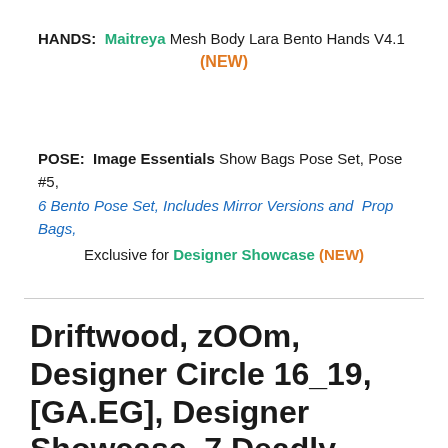HANDS: Maitreya Mesh Body Lara Bento Hands V4.1 (NEW)
POSE: Image Essentials Show Bags Pose Set, Pose #5, 6 Bento Pose Set, Includes Mirror Versions and Prop Bags, Exclusive for Designer Showcase (NEW)
Driftwood, zOOm, Designer Circle 16_19, [GA.EG], Designer Showcase, 7 Deadly s[K]ins, Indulge Temptation, Unik Event, and SWANK Monthly!